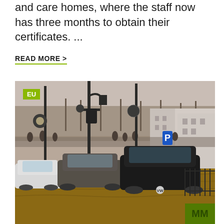and care homes, where the staff now has three months to obtain their certificates. ...
READ MORE >
[Figure (photo): Flooded urban street with cars submerged in brown floodwater. Street lamps and ornate lampposts visible. European-style buildings in background. People watching from a bridge or embankment. A green 'EU' badge label in upper left corner of the image. A partial green logo/watermark in the lower right corner.]